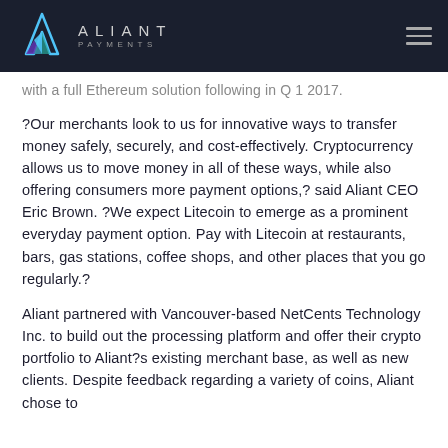ALIANT PAYMENTS
with a full Ethereum solution following in Q 1 2017.
?Our merchants look to us for innovative ways to transfer money safely, securely, and cost-effectively. Cryptocurrency allows us to move money in all of these ways, while also offering consumers more payment options,? said Aliant CEO Eric Brown. ?We expect Litecoin to emerge as a prominent everyday payment option. Pay with Litecoin at restaurants, bars, gas stations, coffee shops, and other places that you go regularly.?
Aliant partnered with Vancouver-based NetCents Technology Inc. to build out the processing platform and offer their crypto portfolio to Aliant?s existing merchant base, as well as new clients. Despite feedback regarding a variety of coins, Aliant chose to